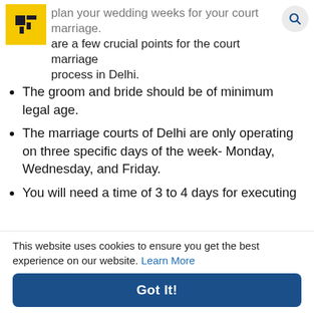plan your wedding weeks for your court marriage. are a few crucial points for the court marriage process in Delhi.
The groom and bride should be of minimum legal age.
The marriage courts of Delhi are only operating on three specific days of the week- Monday, Wednesday, and Friday.
You will need a time of 3 to 4 days for executing your court marriage.
Both the parties getting married need to present an address proof. It can be any legal document with the address mentioned on it.
The court marriage process in Delhi  has two
This website uses cookies to ensure you get the best experience on our website. Learn More
Got It!